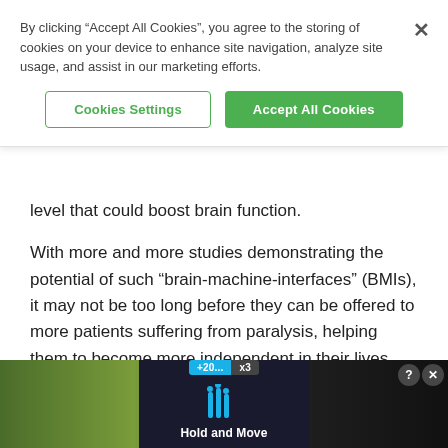By clicking “Accept All Cookies”, you agree to the storing of cookies on your device to enhance site navigation, analyze site usage, and assist in our marketing efforts.
Cookies Settings | Accept All Cookies
level that could boost brain function.
With more and more studies demonstrating the potential of such “brain-machine-interfaces” (BMIs), it may not be too long before they can be offered to more patients suffering from paralysis, helping them to become more independent in their lives. “BMIs will
[Figure (screenshot): Bottom advertisement overlay showing a mobile game or app called 'Hold and Move' with blue neon figure icons on a dark background, overlaid on a nature/outdoor photo.]